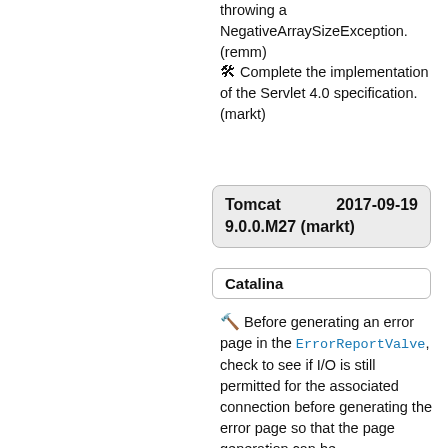throwing a NegativeArraySizeException. (remm)
🛠 Complete the implementation of the Servlet 4.0 specification. (markt)
Tomcat 9.0.0.M27 (markt)  2017-09-19
Catalina
🔨 Before generating an error page in the ErrorReportValve, check to see if I/O is still permitted for the associated connection before generating the error page so that the page generation can be